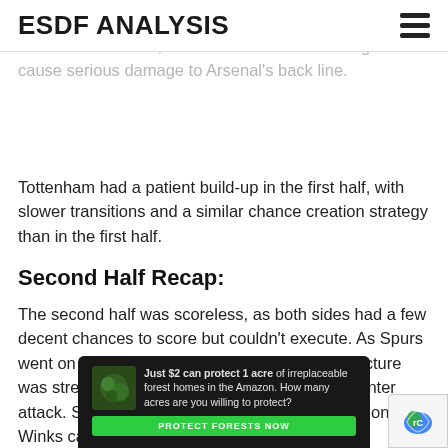ESDF ANALYSIS
As you can run the quality of the chance created better than in the first half, however nowhere near as good to cause serious damage to Arsenal's back line.
Tottenham had a patient build-up in the first half, with slower transitions and a similar chance creation strategy than in the first half.
Second Half Recap:
The second half was scoreless, as both sides had a few decent chances to score but couldn't execute. As Spurs went on looking to get one back, their team structure was stretched, making it easy for Arsenal to counter attack. Spurs ditched their transitional approach once Winks came on, granting them
[Figure (other): Advertisement banner: Just $2 can protect 1 acre of irreplaceable forest homes in the Amazon. How many acres are you willing to protect? Button: PROTECT FORESTS NOW]
[Figure (other): reCAPTCHA badge icon in lower right corner]